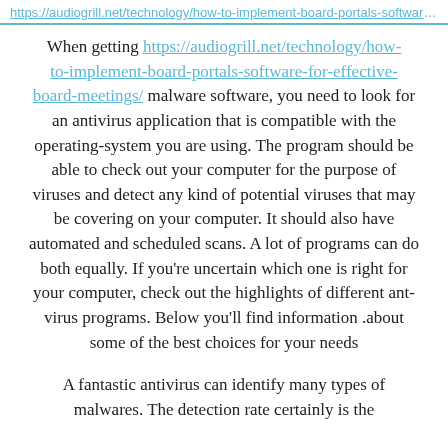https://audiogrill.net/technology/how-to-implement-board-portals-software-for-effective-board-meetings/
When getting https://audiogrill.net/technology/how-to-implement-board-portals-software-for-effective-board-meetings/ malware software, you need to look for an antivirus application that is compatible with the operating-system you are using. The program should be able to check out your computer for the purpose of viruses and detect any kind of potential viruses that may be covering on your computer. It should also have automated and scheduled scans. A lot of programs can do both equally. If you're uncertain which one is right for your computer, check out the highlights of different ant-virus programs. Below you'll find information .about some of the best choices for your needs
A fantastic antivirus can identify many types of malwares. The detection rate certainly is the